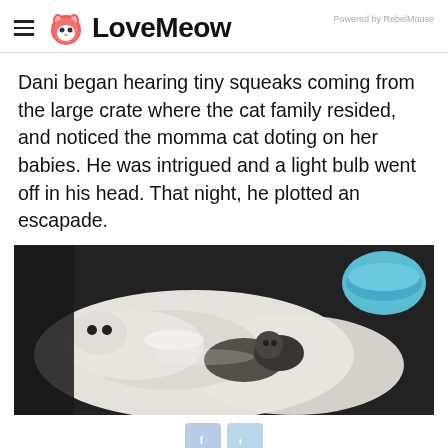LoveMeow — Powered by RebelMouse
Dani began hearing tiny squeaks coming from the large crate where the cat family resided, and noticed the momma cat doting on her babies. He was intrigued and a light bulb went off in his head. That night, he plotted an escapade.
[Figure (photo): A photo of a momma cat with kittens lying on a white fluffy surface, with a blue bowl visible in the upper right corner.]